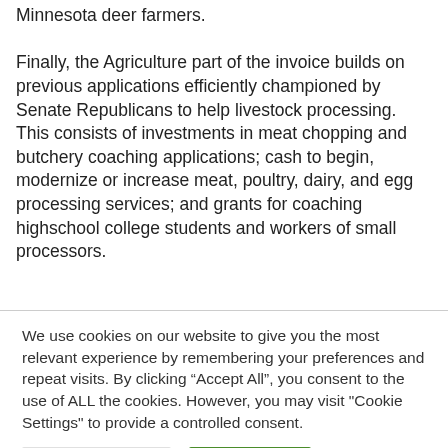Minnesota deer farmers.

Finally, the Agriculture part of the invoice builds on previous applications efficiently championed by Senate Republicans to help livestock processing. This consists of investments in meat chopping and butchery coaching applications; cash to begin, modernize or increase meat, poultry, dairy, and egg processing services; and grants for coaching highschool college students and workers of small processors.
We use cookies on our website to give you the most relevant experience by remembering your preferences and repeat visits. By clicking “Accept All”, you consent to the use of ALL the cookies. However, you may visit "Cookie Settings" to provide a controlled consent.